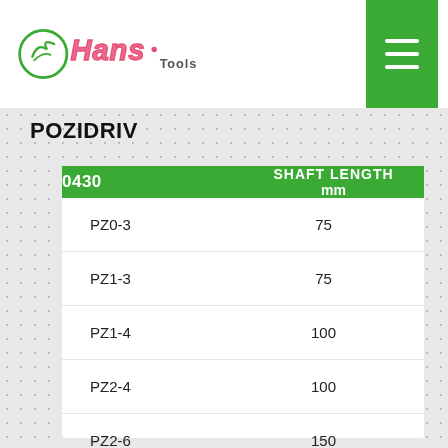[Figure (logo): Hans Tools logo with stylized text and circular emblem]
POZIDRIV
| 0430 | SHAFT LENGTH mm |
| --- | --- |
| PZ0-3 | 75 |
| PZ1-3 | 75 |
| PZ1-4 | 100 |
| PZ2-4 | 100 |
| PZ2-6 | 150 |
| PZ2-8 | 200 |